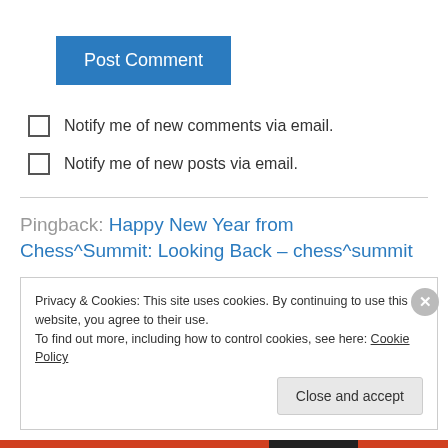[Figure (screenshot): Blue 'Post Comment' button]
Notify me of new comments via email.
Notify me of new posts via email.
Pingback: Happy New Year from Chess^Summit: Looking Back – chess^summit
Privacy & Cookies: This site uses cookies. By continuing to use this website, you agree to their use.
To find out more, including how to control cookies, see here: Cookie Policy